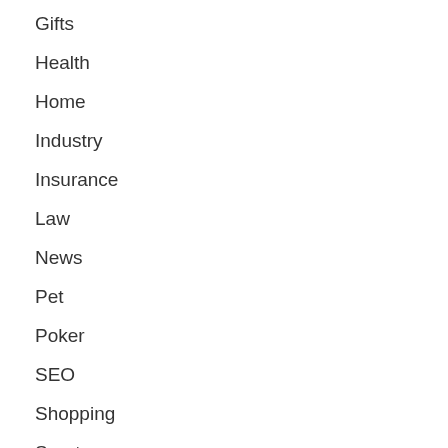Gifts
Health
Home
Industry
Insurance
Law
News
Pet
Poker
SEO
Shopping
Sports
Tech